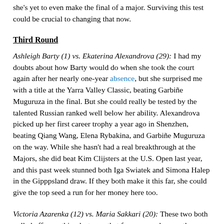she's yet to even make the final of a major. Surviving this test could be crucial to changing that now.
Third Round
Ashleigh Barty (1) vs. Ekaterina Alexandrova (29): I had my doubts about how Barty would do when she took the court again after her nearly one-year absence, but she surprised me with a title at the Yarra Valley Classic, beating Garbiñe Muguruza in the final. But she could really be tested by the talented Russian ranked well below her ability. Alexandrova picked up her first career trophy a year ago in Shenzhen, beating Qiang Wang, Elena Rybakina, and Garbiñe Muguruza on the way. While she hasn't had a real breakthrough at the Majors, she did beat Kim Clijsters at the U.S. Open last year, and this past week stunned both Iga Swiatek and Simona Halep in the Gipppsland draw. If they both make it this far, she could give the top seed a run for her money here too.
Victoria Azarenka (12) vs. Maria Sakkari (20): These two both pulled off something last year that few women have -- they each beat Serena Williams. Sakkari in the upset of her